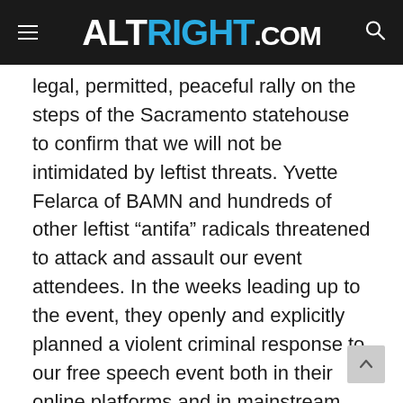ALTRIGHT.COM
legal, permitted, peaceful rally on the steps of the Sacramento statehouse to confirm that we will not be intimidated by leftist threats. Yvette Felarca of BAMN and hundreds of other leftist “antifa” radicals threatened to attack and assault our event attendees. In the weeks leading up to the event, they openly and explicitly planned a violent criminal response to our free speech event both in their online platforms and in mainstream media interviews and press releases.
Will was one of the 18 Sacramento